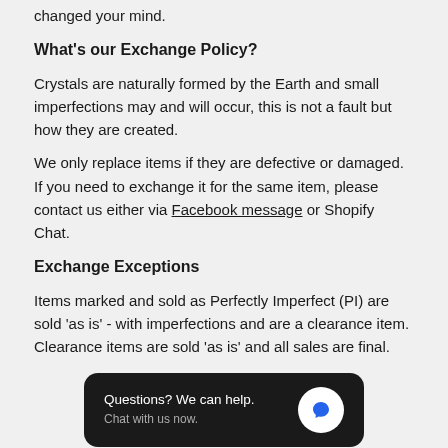changed your mind.
What's our Exchange Policy?
Crystals are naturally formed by the Earth and small imperfections may and will occur, this is not a fault but how they are created.
We only replace items if they are defective or damaged. If you need to exchange it for the same item, please contact us either via Facebook message or Shopify Chat.
Exchange Exceptions
Items marked and sold as Perfectly Imperfect (PI) are sold 'as is' - with imperfections and are a clearance item. Clearance items are sold 'as is' and all sales are final.
[Figure (screenshot): Dark rounded chat widget with text 'Questions? We can help. Chat with us now.' and a blue speech bubble icon on white circle background.]
Our Return Policies are inline with ACCC guidelines.